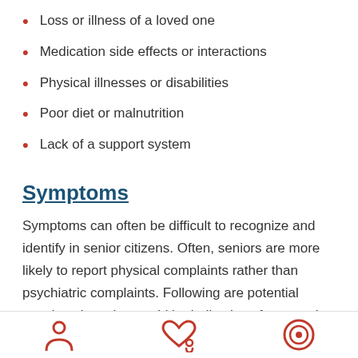Loss or illness of a loved one
Medication side effects or interactions
Physical illnesses or disabilities
Poor diet or malnutrition
Lack of a support system
Symptoms
Symptoms can often be difficult to recognize and identify in senior citizens. Often, seniors are more likely to report physical complaints rather than psychiatric complaints. Following are potential warning signs that could be indicative of a mental health concern:
Confusion
Disorientation
[Figure (infographic): Three footer icons: person/user icon, heart with person icon, and a target/bullseye icon, displayed in red at the bottom of the page]